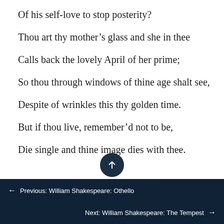Of his self-love to stop posterity?
Thou art thy mother’s glass and she in thee
Calls back the lovely April of her prime;
So thou through windows of thine age shalt see,
Despite of wrinkles this thy golden time.
But if thou live, remember’d not to be,
Die single and thine image dies with thee.
← Previous: William Shakespeare: Othello
Next: William Shakespeare: The Tempest →